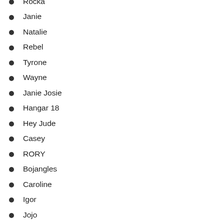Rocka
Janie
Natalie
Rebel
Tyrone
Wayne
Janie Josie
Hangar 18
Hey Jude
Casey
RORY
Bojangles
Caroline
Igor
Jojo